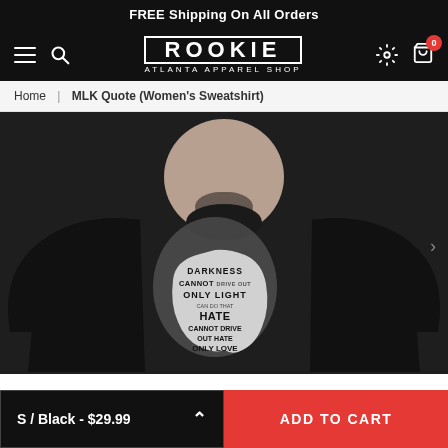FREE Shipping On All Orders
ROOKIE ATLANTA APPAREL SHOP
Home | MLK Quote (Women's Sweatshirt)
[Figure (photo): Woman wearing a black sweatshirt with an MLK quote silhouette graphic reading: DARKNESS CANNOT DRIVE OUT DARKNESS ONLY LIGHT CAN DO THAT HATE CANNOT DRIVE OUT HATE ONLY LOVE CAN DO THAT]
S / Black - $29.99
ADD TO CART